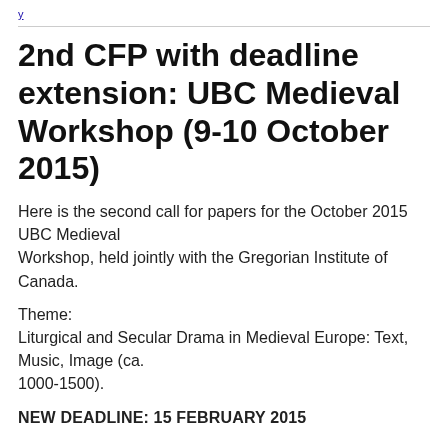y
2nd CFP with deadline extension: UBC Medieval Workshop (9-10 October 2015)
Here is the second call for papers for the October 2015 UBC Medieval Workshop, held jointly with the Gregorian Institute of Canada.
Theme:
Liturgical and Secular Drama in Medieval Europe: Text, Music, Image (ca. 1000-1500).
NEW DEADLINE: 15 FEBRUARY 2015